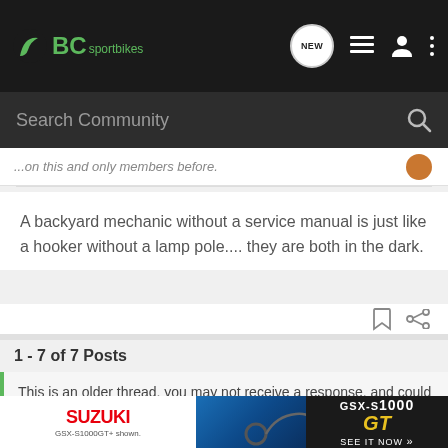BC sportbikes – Search Community
...on this and only members before.
A backyard mechanic without a service manual is just like a hooker without a lamp pole.... they are both in the dark.
1 - 7 of 7 Posts
This is an older thread, you may not receive a response, and could be reviving an old thread. Please consider creating a new thread.
[Figure (screenshot): Suzuki GSX-S1000GT advertisement banner showing motorcycle and GT logo]